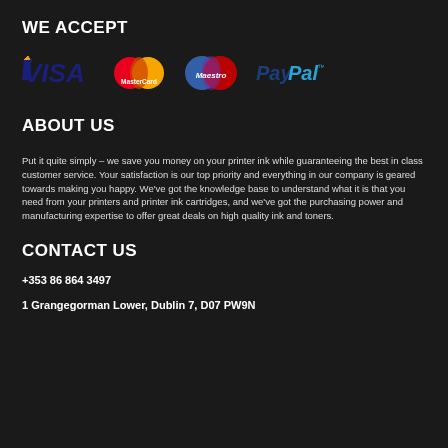WE ACCEPT
[Figure (logo): Payment method logos: Visa, MasterCard, Maestro, PayPal]
ABOUT US
Put it quite simply – we save you money on your printer ink while guaranteeing the best in class customer service. Your satisfaction is our top priority and everything in our company is geared towards making you happy. We've got the knowledge base to understand what it is that you need from your printers and printer ink cartridges, and we've got the purchasing power and manufacturing expertise to offer great deals on high quality ink and toners.
CONTACT US
+353 86 864 3497
1 Grangegorman Lower, Dublin 7, D07 PW9N